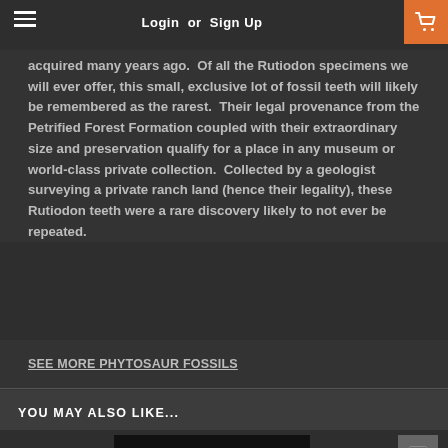Login or Sign Up
acquired many years ago.  Of all the Rutiodon specimens we will ever offer, this small, exclusive lot of fossil teeth will likely be remembered as the rarest.  Their legal provenance from the Petrified Forest Formation coupled with their extraordinary size and preservation qualify for a place in any museum or world-class private collection.  Collected by a geologist surveying a private ranch land (hence their legality), these Rutiodon teeth were a rare discovery likely to not ever be repeated.
SEE MORE PHYTOSAUR FOSSILS
YOU MAY ALSO LIKE...
[Figure (photo): Dark rectangular product image placeholder]